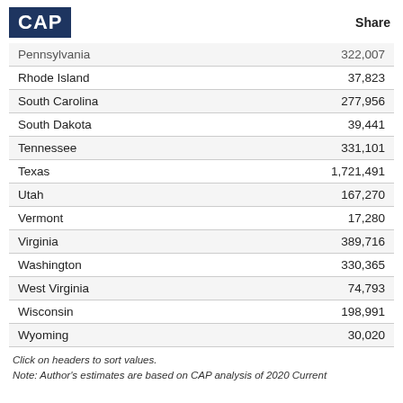CAP | Share
| Pennsylvania | 322,007 |
| Rhode Island | 37,823 |
| South Carolina | 277,956 |
| South Dakota | 39,441 |
| Tennessee | 331,101 |
| Texas | 1,721,491 |
| Utah | 167,270 |
| Vermont | 17,280 |
| Virginia | 389,716 |
| Washington | 330,365 |
| West Virginia | 74,793 |
| Wisconsin | 198,991 |
| Wyoming | 30,020 |
Click on headers to sort values.
Note: Author's estimates are based on CAP analysis of 2020 Current